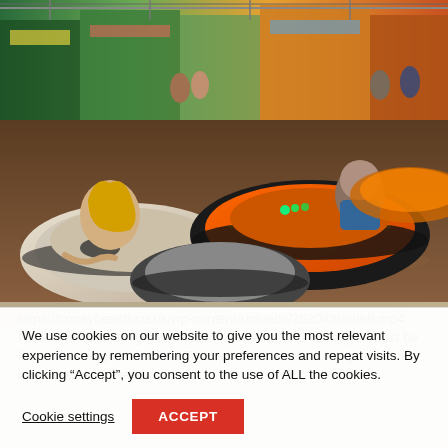[Figure (photo): Photo of people riding bumper cars at an amusement park (Coney Beach). Several riders in colorful electric bumper cars on a shiny floor, with amusement park stalls visible in the background.]
https://coneybeach.co.uk/wp-content/uploads/2020/08/ride8.mp4 Ride restrictionsHeight restrictions: driver 1.3m.Passenger must be 0.9m. Passenger rides free.To assist in social distancing some cars have been removed from the
We use cookies on our website to give you the most relevant experience by remembering your preferences and repeat visits. By clicking “Accept”, you consent to the use of ALL the cookies.
Cookie settings
ACCEPT